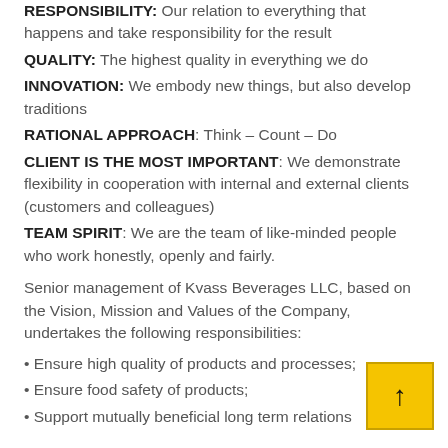RESPONSIBILITY: Our relation to everything that happens and take responsibility for the result
QUALITY: The highest quality in everything we do
INNOVATION: We embody new things, but also develop traditions
RATIONAL APPROACH: Think – Count – Do
CLIENT IS THE MOST IMPORTANT: We demonstrate flexibility in cooperation with internal and external clients (customers and colleagues)
TEAM SPIRIT: We are the team of like-minded people who work honestly, openly and fairly.
Senior management of Kvass Beverages LLC, based on the Vision, Mission and Values of the Company, undertakes the following responsibilities:
• Ensure high quality of products and processes;
• Ensure food safety of products;
• Support mutually beneficial long term relations